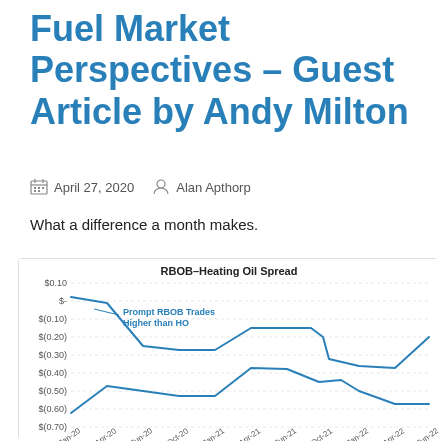Fuel Market Perspectives – Guest Article by Andy Milton
April 27, 2020   Alan Apthorp
What a difference a month makes.
[Figure (line-chart): Line chart showing RBOB-Heating Oil Spread with two lines. Upper line annotation: 'Prompt RBOB Trades Higher than HO'. Y-axis from $(0.70) to $0.10. X-axis shows dates from Jan-20 to Jun-22.]